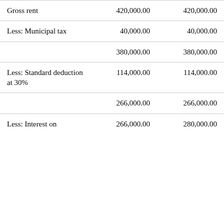|  |  |  |
| --- | --- | --- |
| Gross rent | 420,000.00 | 420,000.00 |
| Less: Municipal tax | 40,000.00 | 40,000.00 |
|  | 380,000.00 | 380,000.00 |
| Less: Standard deduction at 30% | 114,000.00 | 114,000.00 |
|  | 266,000.00 | 266,000.00 |
| Less: Interest on | 266,000.00 | 280,000.00 |